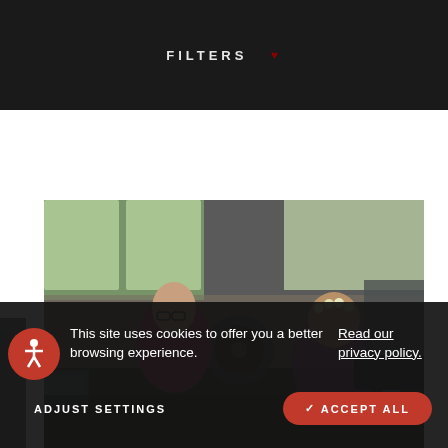FILTERS
[Figure (photo): Two women in a clinical/office setting; one wearing glasses in a magenta top, the other with flowers in her hair, in a tropical environment with windows showing greenery]
This site uses cookies to offer you a better browsing experience.  Read our privacy policy.
ADJUST SETTINGS
✓ ACCEPT ALL